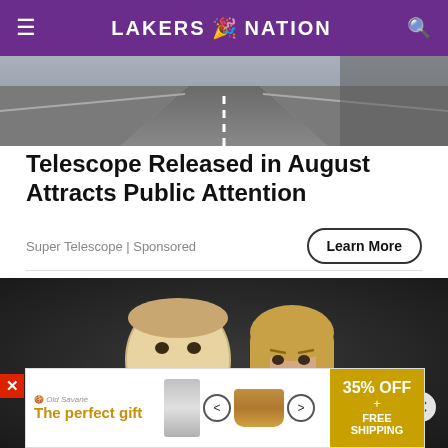LAKERS NATION
[Figure (photo): Road/highway photo strip at top of article]
Telescope Released in August Attracts Public Attention
Super Telescope | Sponsored
Learn More
[Figure (photo): Woman with serious expression holding a smiling mask in front of dark background]
[Figure (infographic): Bottom advertisement banner: The perfect gift, 35% OFF + FREE SHIPPING]